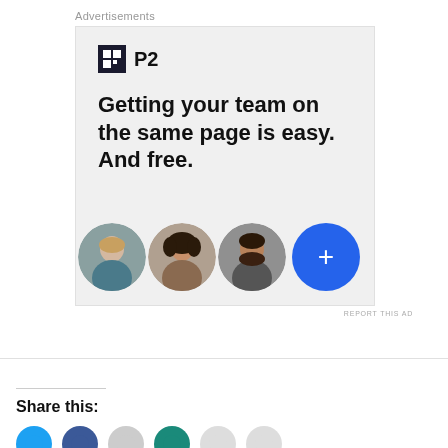Advertisements
[Figure (illustration): P2 advertisement banner with logo, headline 'Getting your team on the same page is easy. And free.', and three circular avatar photos plus a blue plus-button circle]
REPORT THIS AD
Share this: